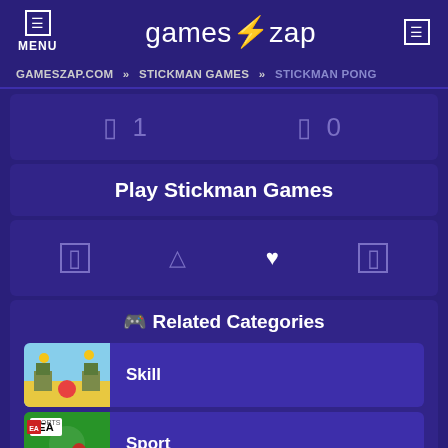games⚡zap — MENU
GAMESZAP.COM » STICKMAN GAMES » STICKMAN PONG
[Figure (screenshot): Score display bar with icons]
Play Stickman Games
[Figure (infographic): Game controls bar with navigation, warning, heart, and fullscreen icons]
🎮 Related Categories
[Figure (illustration): Skill category thumbnail - colorful game scene]
Skill
[Figure (photo): Sport category thumbnail - EA Sports soccer game]
Sport